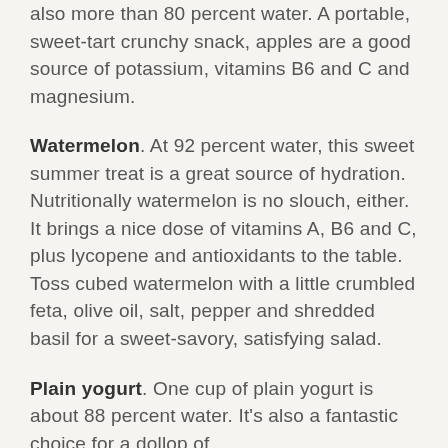also more than 80 percent water. A portable, sweet-tart crunchy snack, apples are a good source of potassium, vitamins B6 and C and magnesium.
Watermelon. At 92 percent water, this sweet summer treat is a great source of hydration. Nutritionally watermelon is no slouch, either. It brings a nice dose of vitamins A, B6 and C, plus lycopene and antioxidants to the table. Toss cubed watermelon with a little crumbled feta, olive oil, salt, pepper and shredded basil for a sweet-savory, satisfying salad.
Plain yogurt. One cup of plain yogurt is about 88 percent water. It's also a fantastic choice for a dollop of